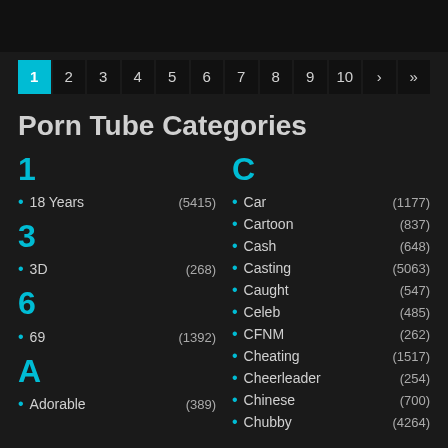Pagination: 1 2 3 4 5 6 7 8 9 10 › »
Porn Tube Categories
1
18 Years (5415)
3
3D (268)
6
69 (1392)
A
Adorable (389)
C
Car (1177)
Cartoon (837)
Cash (648)
Casting (5063)
Caught (547)
Celeb (485)
CFNM (262)
Cheating (1517)
Cheerleader (254)
Chinese (700)
Chubby (4264)